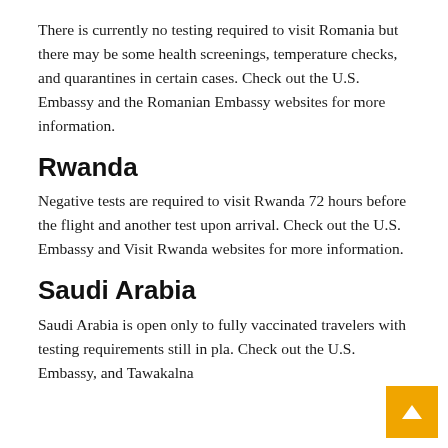There is currently no testing required to visit Romania but there may be some health screenings, temperature checks, and quarantines in certain cases. Check out the U.S. Embassy and the Romanian Embassy websites for more information.
Rwanda
Negative tests are required to visit Rwanda 72 hours before the flight and another test upon arrival. Check out the U.S. Embassy and Visit Rwanda websites for more information.
Saudi Arabia
Saudi Arabia is open only to fully vaccinated travelers with testing requirements still in pla. Check out the U.S. Embassy, and Tawakalna